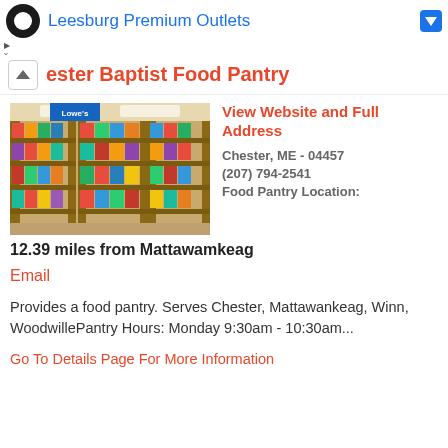[Figure (screenshot): Leesburg Premium Outlets advertisement bar with logo]
ester Baptist Food Pantry
[Figure (photo): Interior of a food pantry showing shelves stocked with canned goods and food items]
View Website and Full Address
Chester, ME - 04457
(207) 794-2541
Food Pantry Location:
12.39 miles from Mattawamkeag
Email
Provides a food pantry. Serves Chester, Mattawankeag, Winn, WoodwillePantry Hours: Monday 9:30am - 10:30am...
Go To Details Page For More Information